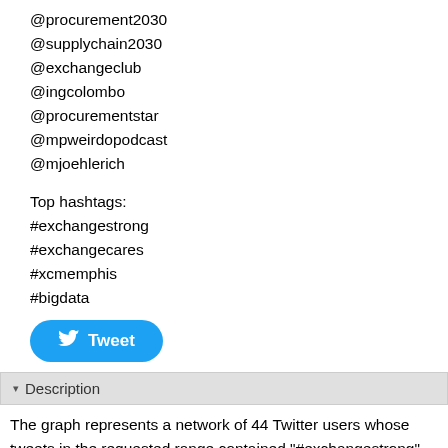@procurement2030
@supplychain2030
@exchangeclub
@ingcolombo
@procurementstar
@mpweirdopodcast
@mjoehlerich
Top hashtags:
#exchangestrong
#exchangecares
#xcmemphis
#bigdata
[Figure (other): Tweet button with Twitter bird logo]
▾ Description
The graph represents a network of 44 Twitter users whose tweets in the requested range contained "#exchangestrong", or who were replied to or mentioned in those tweets. The network was obtained from the NodeXL Graph Server on Sunday, 03 October 2021 at 13:27 UTC.
The requested start date was Sunday, 03 October 2021 at 00:01 UTC and the maximum number of tweets (going backward in time) was 7,500.